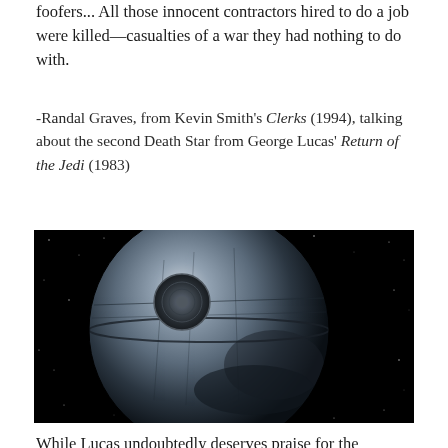foofers... All those innocent contractors hired to do a job were killed—casualties of a war they had nothing to do with.
-Randal Graves, from Kevin Smith's Clerks (1994), talking about the second Death Star from George Lucas' Return of the Jedi (1983)
[Figure (photo): Image of the Death Star space station from Star Wars against a black starfield background]
While Lucas undoubtedly deserves praise for the